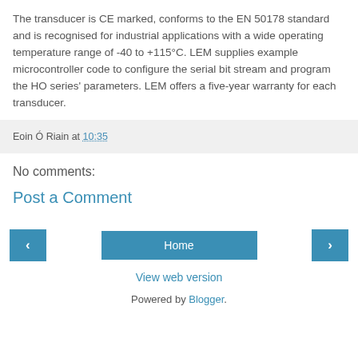The transducer is CE marked, conforms to the EN 50178 standard and is recognised for industrial applications with a wide operating temperature range of -40 to +115°C. LEM supplies example microcontroller code to configure the serial bit stream and program the HO series' parameters. LEM offers a five-year warranty for each transducer.
Eoin Ó Riain at 10:35
No comments:
Post a Comment
Home
View web version
Powered by Blogger.